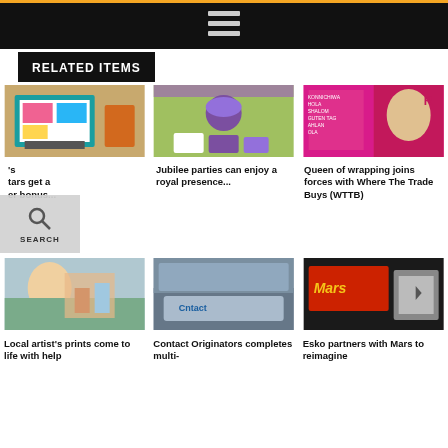Navigation header with hamburger menu
RELATED ITEMS
[Figure (photo): Laptop on a desk with colorful design on screen and a drink nearby]
[Figure (photo): Woman in purple hat at a Jubilee party with purple gift boxes]
[Figure (photo): Woman standing in front of signage with multilingual greetings]
's tars get a er bonus...
Jubilee parties can enjoy a royal presence...
Queen of wrapping joins forces with Where The Trade Buys (WTTB)
[Figure (photo): Local artist smiling with colorful prints and artwork]
[Figure (photo): Contact Originators building exterior with sign]
[Figure (photo): Mars chocolate bar packaging next to printed card]
Local artist's prints come to life with help
Contact Originators completes multi-
Esko partners with Mars to reimagine